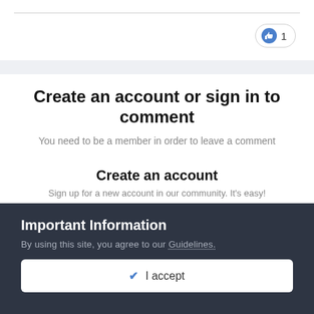[Figure (other): Like/thumbs-up badge showing count of 1]
Create an account or sign in to comment
You need to be a member in order to leave a comment
Create an account
Sign up for a new account in our community. It's easy!
Register a new account
Important Information
By using this site, you agree to our Guidelines.
✔ I accept